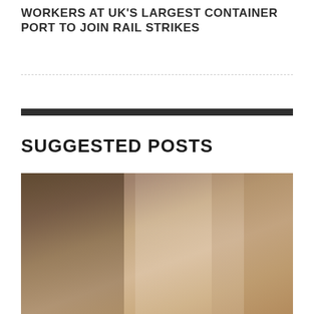WORKERS AT UK'S LARGEST CONTAINER PORT TO JOIN RAIL STRIKES
SUGGESTED POSTS
[Figure (photo): A young man wearing a striped beanie hat sits at a workshop desk talking on a telephone while leaning over open documents/papers, with a cluttered workshop background.]